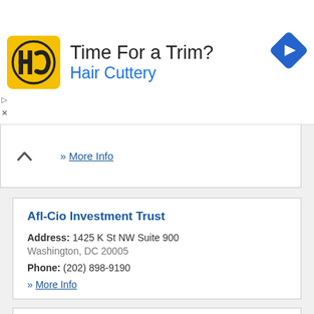[Figure (infographic): Hair Cuttery advertisement banner with yellow HC logo, text 'Time For a Trim? Hair Cuttery' and a blue navigation diamond icon on the right]
» More Info
Afl-Cio Investment Trust
Address: 1425 K St NW Suite 900
Washington, DC 20005
Phone: (202) 898-9190
» More Info
Alante Financial
Address: 3110 Mount Pleasant St NW
Washington, DC 20010